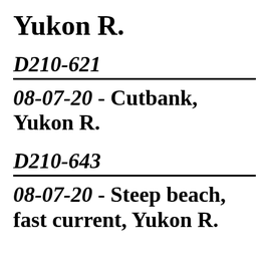Yukon R.
D210-621
08-07-20 - Cutbank, Yukon R.
D210-643
08-07-20 - Steep beach, fast current, Yukon R.